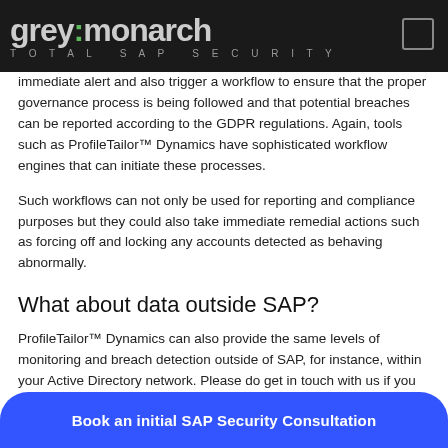grey:monarch TOTAL SAP SECURITY
immediate alert and also trigger a workflow to ensure that the proper governance process is being followed and that potential breaches can be reported according to the GDPR regulations. Again, tools such as ProfileTailor™ Dynamics have sophisticated workflow engines that can initiate these processes.
Such workflows can not only be used for reporting and compliance purposes but they could also take immediate remedial actions such as forcing off and locking any accounts detected as behaving abnormally.
What about data outside SAP?
ProfileTailor™ Dynamics can also provide the same levels of monitoring and breach detection outside of SAP, for instance, within your Active Directory network. Please do get in touch with us if you would li...
Book an initial SAP Security Consultation